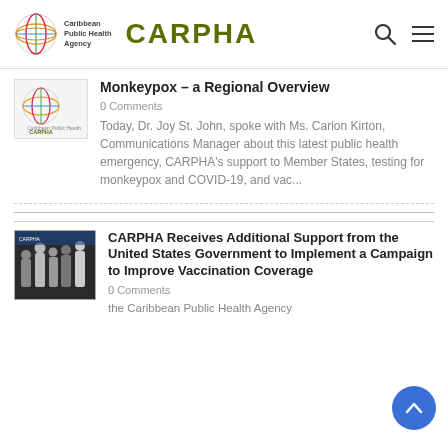Caribbean Public Health Agency | CARPHA
[Figure (logo): CARPHA logo with globe icon and text Caribbean Public Health Agency]
Monkeypox – a Regional Overview
0 Comments
Today, Dr. Joy St. John, spoke with Ms. Carlon Kirton, Communications Manager about this latest public health emergency, CARPHA's support to Member States, testing for monkeypox and COVID-19, and vac...
CARPHA Receives Additional Support from the United States Government to Implement a Campaign to Improve Vaccination Coverage
0 Comments
the Caribbean Public Health Agency